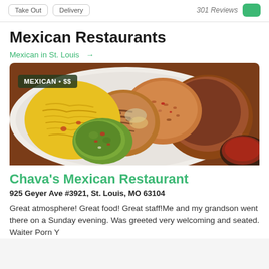Take Out  Delivery  301 Reviews
Mexican Restaurants
Mexican in St. Louis →
[Figure (photo): Overhead photo of a Mexican food plate with grilled chicken, shredded yellow cheese, guacamole with salsa, Spanish rice, and refried beans on a white plate. A badge reads MEXICAN • $$.]
Chava's Mexican Restaurant
925 Geyer Ave #3921, St. Louis, MO 63104
Great atmosphere! Great food! Great staff!Me and my grandson went there on a Sunday evening. Was greeted very welcoming and seated. Waiter Porn Y